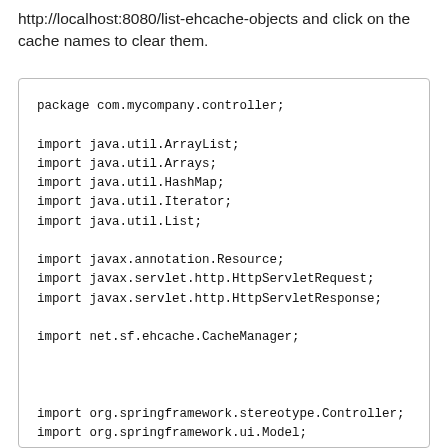http://localhost:8080/list-ehcache-objects and click on the cache names to clear them.
[Figure (screenshot): Code block showing Java package and import statements for a Spring MVC controller using EhCache]